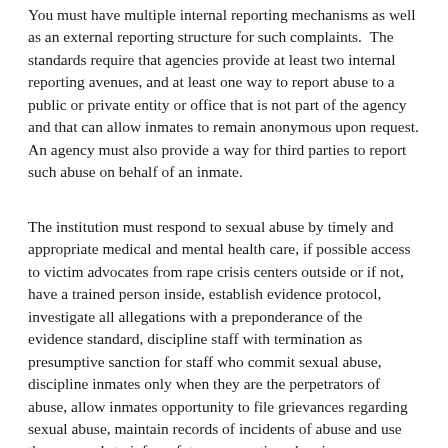You must have multiple internal reporting mechanisms as well as an external reporting structure for such complaints.  The standards require that agencies provide at least two internal reporting avenues, and at least one way to report abuse to a public or private entity or office that is not part of the agency and that can allow inmates to remain anonymous upon request. An agency must also provide a way for third parties to report such abuse on behalf of an inmate.
The institution must respond to sexual abuse by timely and appropriate medical and mental health care, if possible access to victim advocates from rape crisis centers outside or if not, have a trained person inside, establish evidence protocol, investigate all allegations with a preponderance of the evidence standard, discipline staff with termination as presumptive sanction for staff who commit sexual abuse, discipline inmates only when they are the perpetrators of abuse, allow inmates opportunity to file grievances regarding sexual abuse, maintain records of incidents of abuse and use those records to inform future prevention planning.
The Policy Review and Developmental Guide has a very useful series of questions about each PREA standard and whether your